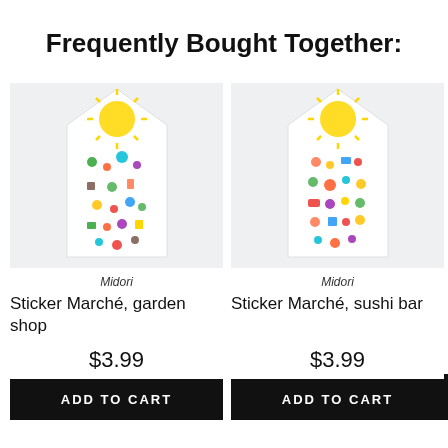Frequently Bought Together:
[Figure (photo): Sticker sheet product image - Midori Sticker Marché garden shop, colorful plant and pot stickers on a house-shaped card with yellow sunburst top]
Midori
Sticker Marché, garden shop
$3.99
ADD TO CART
[Figure (photo): Sticker sheet product image - Midori Sticker Marché sushi bar, colorful food stickers on a house-shaped card with yellow sunburst top]
Midori
Sticker Marché, sushi bar
$3.99
ADD TO CART